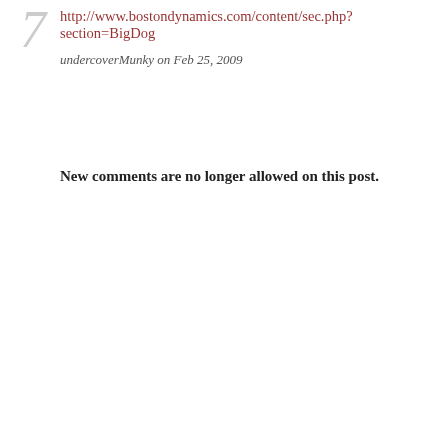http://www.bostondynamics.com/content/sec.php?section=BigDog
undercoverMunky on Feb 25, 2009
New comments are no longer allowed on this post.